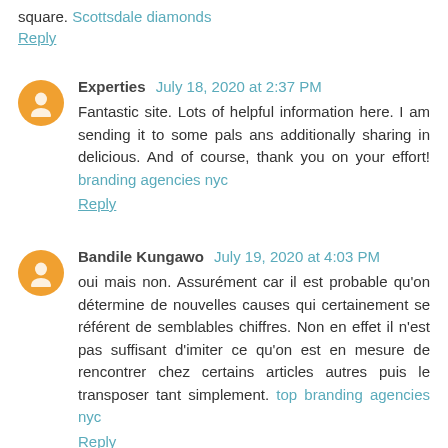square. Scottsdale diamonds
Reply
Experties July 18, 2020 at 2:37 PM
Fantastic site. Lots of helpful information here. I am sending it to some pals ans additionally sharing in delicious. And of course, thank you on your effort! branding agencies nyc
Reply
Bandile Kungawo July 19, 2020 at 4:03 PM
oui mais non. Assurément car il est probable qu'on détermine de nouvelles causes qui certainement se référent de semblables chiffres. Non en effet il n'est pas suffisant d'imiter ce qu'on est en mesure de rencontrer chez certains articles autres puis le transposer tant simplement. top branding agencies nyc
Reply